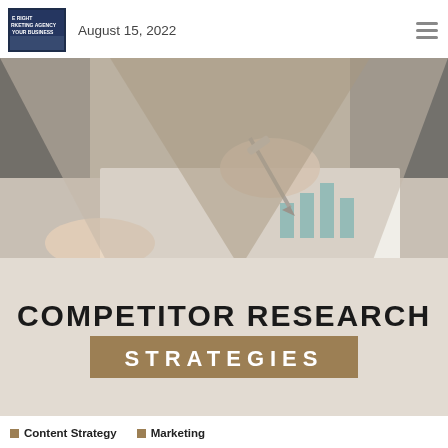August 15, 2022
[Figure (photo): Blog post header image showing a person's hand holding a pen over charts and documents on a desk with a laptop in the background. The image has a chevron/V-shaped overlay design. Large text reads COMPETITOR RESEARCH STRATEGIES.]
Content Strategy
Marketing